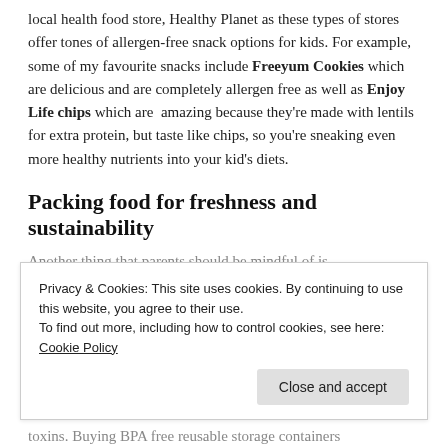local health food store, Healthy Planet as these types of stores offer tones of allergen-free snack options for kids. For example, some of my favourite snacks include Freeyum Cookies which are delicious and are completely allergen free as well as Enjoy Life chips which are  amazing because they're made with lentils for extra protein, but taste like chips, so you're sneaking even more healthy nutrients into your kid's diets.
Packing food for freshness and sustainability
Another thing that parents should be mindful of is
Privacy & Cookies: This site uses cookies. By continuing to use this website, you agree to their use.
To find out more, including how to control cookies, see here: Cookie Policy
toxins. Buying BPA free reusable storage containers